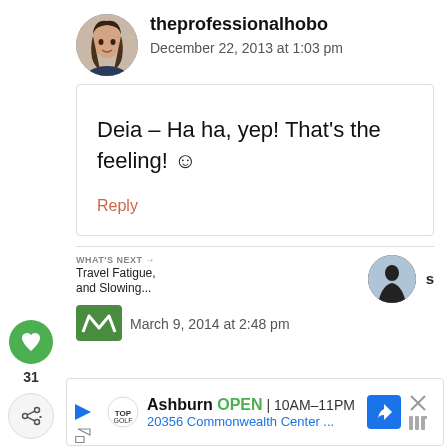[Figure (photo): Round avatar photo of a woman with dark hair]
theprofessionalhobo
December 22, 2013 at 1:03 pm
Deia – Ha ha, yep! That's the feeling! ☺
Reply
31
WHAT'S NEXT → Travel Fatigue, and Slowing...
[Figure (photo): Round avatar photo of a person silhouetted against bright background]
s
March 9, 2014 at 2:48 pm
[Figure (screenshot): Ad banner: Ashburn OPEN 10AM-11PM, 20356 Commonwealth Center...]